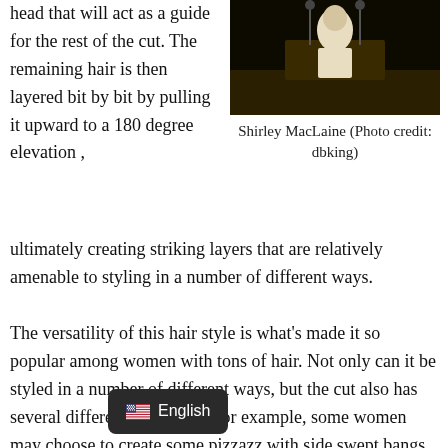head that will act as a guide for the rest of the cut. The remaining hair is then layered bit by bit by pulling it upward to a 180 degree elevation , ultimately creating striking layers that are relatively amenable to styling in a number of different ways.
[Figure (photo): Black and white photo of Shirley MacLaine at a podium with microphones, wearing a white outfit]
Shirley MacLaine (Photo credit: dbking)
The versatility of this hair style is what's made it so popular among women with tons of hair. Not only can it be styled in a number of different ways, but the cut also has several different variations. For example, some women may choose to create some pizzazz with side swept bangs. Done at a horizontal angle, bangs can create an illusion of symmetry in facial feat